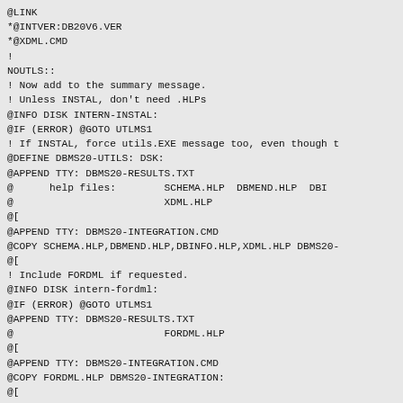@LINK
*@INTVER:DB20V6.VER
*@XDML.CMD
!
NOUTLS::
! Now add to the summary message.
! Unless INSTAL, don't need .HLPs
@INFO DISK INTERN-INSTAL:
@IF (ERROR) @GOTO UTLMS1
! If INSTAL, force utils.EXE message too, even though t
@DEFINE DBMS20-UTILS: DSK:
@APPEND TTY: DBMS20-RESULTS.TXT
@      help files:        SCHEMA.HLP  DBMEND.HLP  DBI
@                         XDML.HLP
@[
@APPEND TTY: DBMS20-INTEGRATION.CMD
@COPY SCHEMA.HLP,DBMEND.HLP,DBINFO.HLP,XDML.HLP DBMS20-
@[
! Include FORDML if requested.
@INFO DISK intern-fordml:
@IF (ERROR) @GOTO UTLMS1
@APPEND TTY: DBMS20-RESULTS.TXT
@                         FORDML.HLP
@[
@APPEND TTY: DBMS20-INTEGRATION.CMD
@COPY FORDML.HLP DBMS20-INTEGRATION:
@[
UTLMS1::
@INFO DISK DBMS20-UTILS:
@IF (ERROR) @GOTO UTLMS2